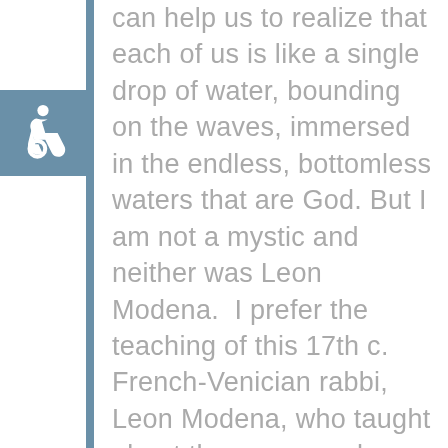[Figure (illustration): Wheelchair accessibility icon — white wheelchair symbol on a steel blue square background]
can help us to realize that each of us is like a single drop of water, bounding on the waves, immersed in the endless, bottomless waters that are God. But I am not a mystic and neither was Leon Modena.  I prefer the teaching of this 17th c. French-Venician rabbi, Leon Modena, who taught about the power and purpose of true prayer with following metaphor…  Imagine a man in a boat.  He is rowing himself to shore.  If one did not know better, it could appear that the man is pulling the shore to